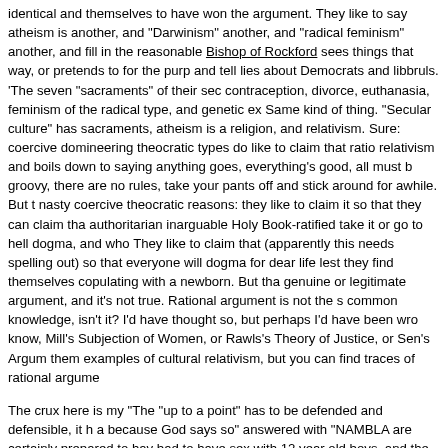identical and themselves to have won the argument. They like to say atheism is another, and "Darwinism" another, and "radical feminism" another, and fill in the reasonable Bishop of Rockford sees things that way, or pretends to for the purp and tell lies about Democrats and libbruls. 'The seven "sacraments" of their sec contraception, divorce, euthanasia, feminism of the radical type, and genetic ex Same kind of thing. "Secular culture" has sacraments, atheism is a religion, and relativism. Sure: coercive domineering theocratic types do like to claim that ratio relativism and boils down to saying anything goes, everything's good, all must b groovy, there are no rules, take your pants off and stick around for awhile. But t nasty coercive theocratic reasons: they like to claim it so that they can claim tha authoritarian inarguable Holy Book-ratified take it or go to hell dogma, and who They like to claim that (apparently this needs spelling out) so that everyone will dogma for dear life lest they find themselves copulating with a newborn. But tha genuine or legitimate argument, and it's not true. Rational argument is not the s common knowledge, isn't it? I'd have thought so, but perhaps I'd have been wro know, Mill's Subjection of Women, or Rawls's Theory of Justice, or Sen's Argum them examples of cultural relativism, but you can find traces of rational argume
The crux here is my "The "up to a point" has to be defended and defensible, it h a because God says so" answered with "NAMBLA are certainly prepared to hav bad to have sex with 12 year old boys, and the reason that they can't is going to absolute statement of (im)morality."
Why? Why is the reason going to have to depend on that? Any more than, for in marriage do? It's noticeable that most of the arguments against gay marriage a